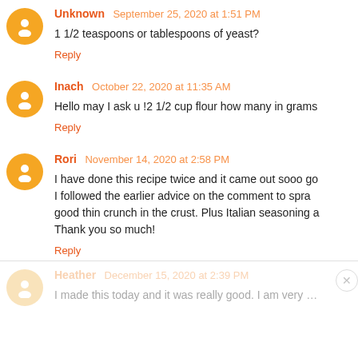Unknown September 25, 2020 at 1:51 PM
1 1/2 teaspoons or tablespoons of yeast?
Reply
Inach October 22, 2020 at 11:35 AM
Hello may I ask u !2 1/2 cup flour how many in grams
Reply
Rori November 14, 2020 at 2:58 PM
I have done this recipe twice and it came out sooo go... I followed the earlier advice on the comment to spra... good thin crunch in the crust. Plus Italian seasoning a... Thank you so much!
Reply
Heather December 15, 2020 at 2:39 PM
I made this today and it was really good. I am very hap...